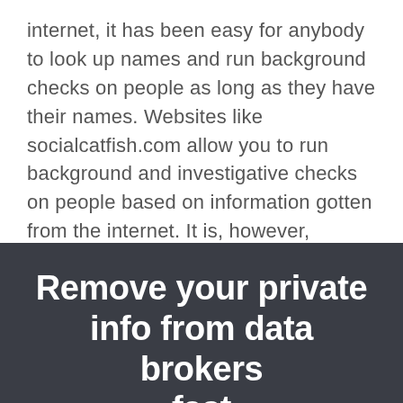internet, it has been easy for anybody to look up names and run background checks on people as long as they have their names. Websites like socialcatfish.com allow you to run background and investigative checks on people based on information gotten from the internet. It is, however, possible to remove one's details from websites like socialcatfish.com. The process is free, simple and fast in most cases. For the social catfish opt-out, the process is listed below.
Remove your private info from data brokers fast